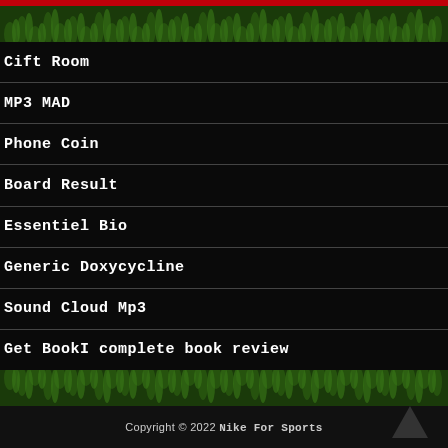[Figure (illustration): Red bar at top, grass texture header image]
Cift Room
MP3 MAD
Phone Coin
Board Result
Essentiel Bio
Generic Doxycycline
Sound Cloud Mp3
Get BookI complete book review
[Figure (illustration): Grass texture footer image with arrow up]
Copyright © 2022 Nike For Sports